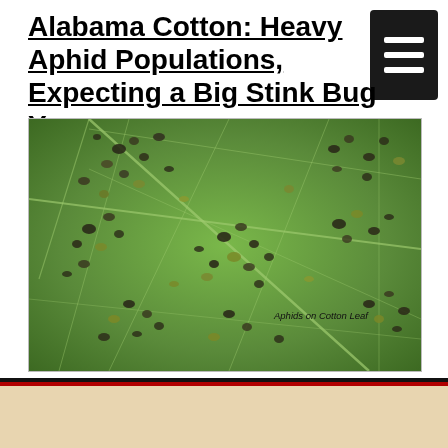Alabama Cotton: Heavy Aphid Populations, Expecting a Big Stink Bug Year
[Figure (photo): Close-up photograph of aphids on a green cotton leaf, showing numerous small dark insects clustered on the leaf surface with visible leaf venation. Caption text reads 'Aphids on Cotton Leaf'.]
Aphids on Cotton Leaf